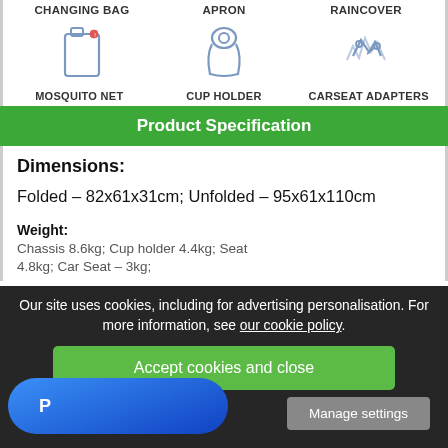CHANGING BAG | APRON | RAINCOVER
[Figure (illustration): Icons for changing bag, apron, and raincover accessories]
MOSQUITO NET | CUP HOLDER | CARSEAT ADAPTERS
Product Specification
Dimensions:
Folded – 82x61x31cm; Unfolded – 95x61x110cm
Weight: Chassis 8.6kg; Cup holder 4.4kg; Seat 4.8kg; Car Seat – 3kg;
Our site uses cookies, including for advertising personalisation. For more information, see our cookie policy.
Accept cookies and close
Manage settings